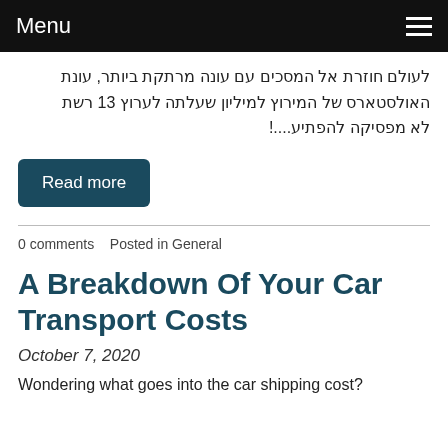Menu
לעולם חוזרת אל המסכים עם עונה מרתקת ביותר, עונת האולסטארס של המירוץ למיליון שעלתה לערוץ 13 רשת לא מפסיקה להפתיע...!
Read more
0 comments   Posted in General
A Breakdown Of Your Car Transport Costs
October 7, 2020
Wondering what goes into the car shipping cost?